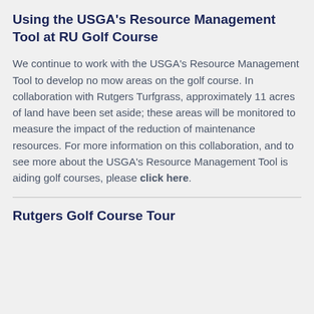Using the USGA's Resource Management Tool at RU Golf Course
We continue to work with the USGA's Resource Management Tool to develop no mow areas on the golf course. In collaboration with Rutgers Turfgrass, approximately 11 acres of land have been set aside; these areas will be monitored to measure the impact of the reduction of maintenance resources. For more information on this collaboration, and to see more about the USGA's Resource Management Tool is aiding golf courses, please click here.
Rutgers Golf Course Tour